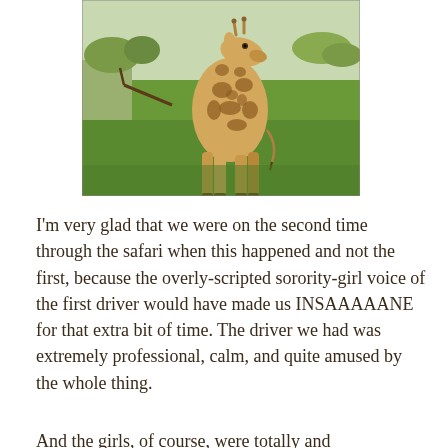[Figure (photo): A giraffe standing in a green grassy field, viewed from mid-body down, with its head lowered toward the ground. Trees and a path are visible in the background.]
I'm very glad that we were on the second time through the safari when this happened and not the first, because the overly-scripted sorority-girl voice of the first driver would have made us INSAAAAANE for that extra bit of time. The driver we had was extremely professional, calm, and quite amused by the whole thing.
And the girls, of course, were totally and